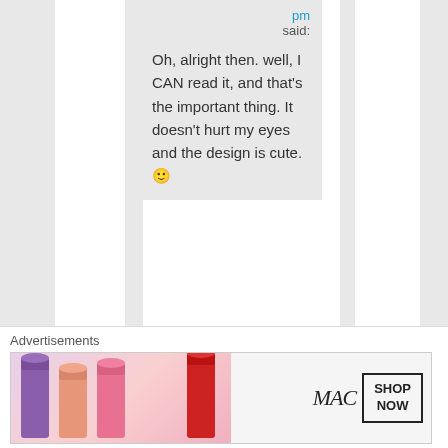pm
said:
Oh, alright then. well, I CAN read it, and that's the important thing. It doesn't hurt my eyes and the design is cute. 🙂
Like
Advertisements
[Figure (photo): MAC cosmetics advertisement banner showing colorful lipsticks on the left and MAC logo with SHOP NOW box on the right]